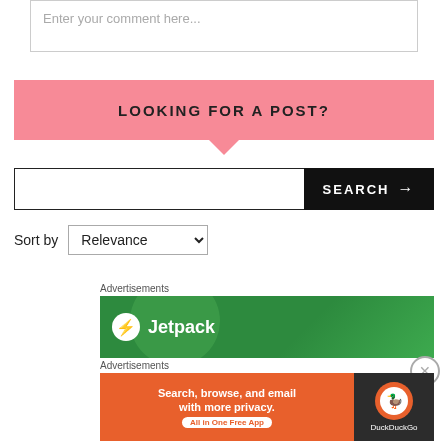Enter your comment here...
LOOKING FOR A POST?
SEARCH →
Sort by Relevance
Advertisements
[Figure (screenshot): Jetpack advertisement banner with green background]
Advertisements
[Figure (screenshot): DuckDuckGo advertisement: Search, browse, and email with more privacy. All in One Free App]